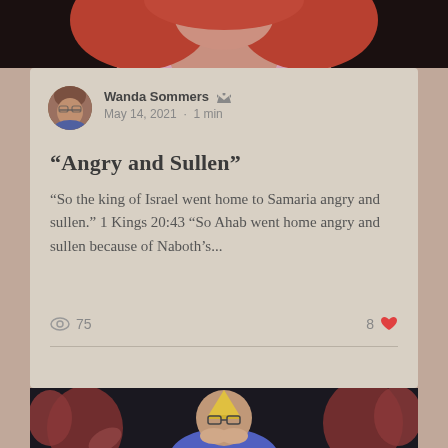[Figure (photo): Top cropped photo showing a woman with red hair and pink/lavender outfit, partial view]
Wanda Sommers
May 14, 2021 · 1 min
“Angry and Sullen”
“So the king of Israel went home to Samaria angry and sullen.” 1 Kings 20:43 “So Ahab went home angry and sullen because of Naboth’s...
75 views · 8 likes
[Figure (photo): Bottom photo showing a glum man with glasses and a party hat, sitting with his head in his hands surrounded by dark red balloons, against a dark background]